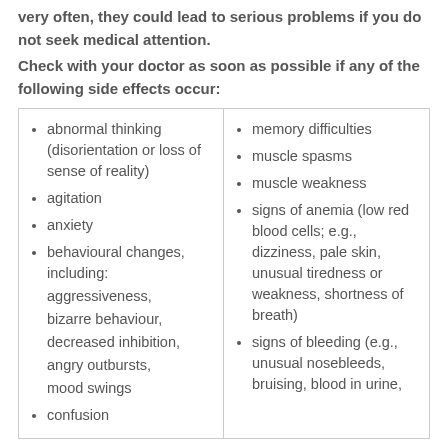very often, they could lead to serious problems if you do not seek medical attention.
Check with your doctor as soon as possible if any of the following side effects occur:
abnormal thinking (disorientation or loss of sense of reality)
agitation
anxiety
behavioural changes, including: aggressiveness, bizarre behaviour, decreased inhibition, angry outbursts, mood swings
confusion
memory difficulties
muscle spasms
muscle weakness
signs of anemia (low red blood cells; e.g., dizziness, pale skin, unusual tiredness or weakness, shortness of breath)
signs of bleeding (e.g., unusual nosebleeds, bruising, blood in urine,